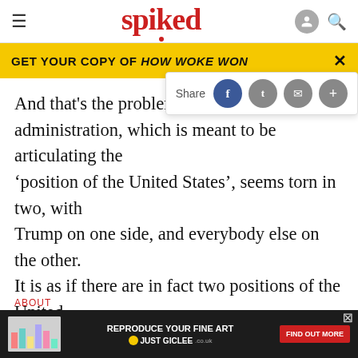spiked
GET YOUR COPY OF HOW WOKE WON
And that's the problem. Regardless of the administration, which is meant to be articulating the 'position of the United States', seems torn in two, with Trump on one side, and everybody else on the other. It is as if there are in fact two positions of the United States on Russia. Trump says simply 'if we can get along with Russia, that's a good thing'. Everybody else says you can't trust Russia, because they're the bad guys, usually with a reference to Putin's past as a KGB...
ABOUT
[Figure (screenshot): Advertisement banner: REPRODUCE YOUR FINE ART JUST GICLEE with FIND OUT MORE button]